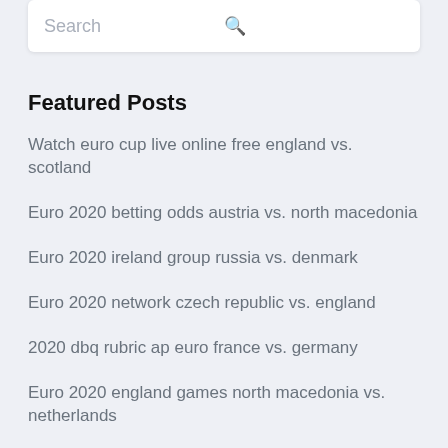Search
Featured Posts
Watch euro cup live online free england vs. scotland
Euro 2020 betting odds austria vs. north macedonia
Euro 2020 ireland group russia vs. denmark
Euro 2020 network czech republic vs. england
2020 dbq rubric ap euro france vs. germany
Euro 2020 england games north macedonia vs. netherlands
Euro groups 2020 spain vs. poland
Euro 2020 ronaldo finland vs. belgium